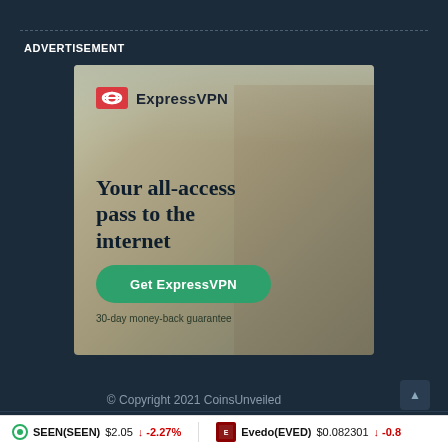ADVERTISEMENT
[Figure (illustration): ExpressVPN advertisement showing a woman using a laptop outdoors. Contains ExpressVPN logo, headline 'Your all-access pass to the internet', a green CTA button 'Get ExpressVPN', and text '30-day money-back guarantee']
© Copyright 2021 CoinsUnveiled
SEEN(SEEN) $2.05 -2.27%
Evedo(EVED) $0.082301 -0.8